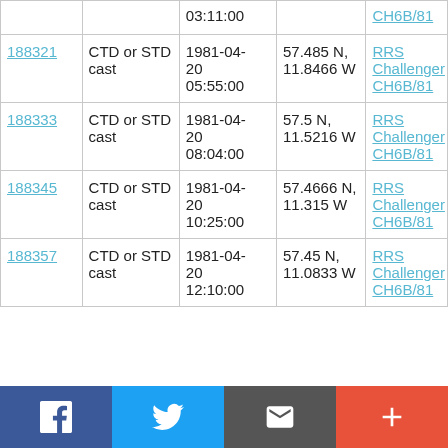| ID | Type | Date/Time | Location | Cruise |
| --- | --- | --- | --- | --- |
|  |  | 03:11:00 |  | CH6B/81 |
| 188321 | CTD or STD cast | 1981-04-20 05:55:00 | 57.485 N, 11.8466 W | RRS Challenger CH6B/81 |
| 188333 | CTD or STD cast | 1981-04-20 08:04:00 | 57.5 N, 11.5216 W | RRS Challenger CH6B/81 |
| 188345 | CTD or STD cast | 1981-04-20 10:25:00 | 57.4666 N, 11.315 W | RRS Challenger CH6B/81 |
| 188357 | CTD or STD cast | 1981-04-20 12:10:00 | 57.45 N, 11.0833 W | RRS Challenger CH6B/81 |
Facebook | Twitter | Email | +